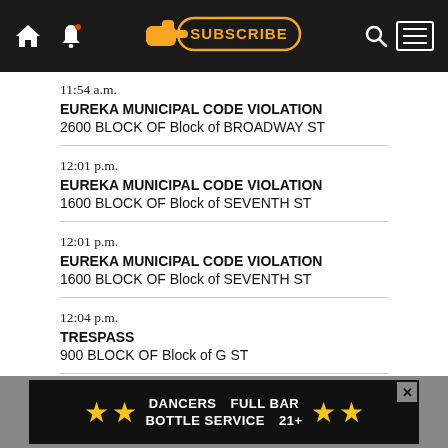SUBSCRIBE navigation bar
11:54 a.m.
EUREKA MUNICIPAL CODE VIOLATION
2600 BLOCK OF Block of BROADWAY ST
12:01 p.m.
EUREKA MUNICIPAL CODE VIOLATION
1600 BLOCK OF Block of SEVENTH ST
12:01 p.m.
EUREKA MUNICIPAL CODE VIOLATION
1600 BLOCK OF Block of SEVENTH ST
12:04 p.m.
TRESPASS
900 BLOCK OF Block of G ST
[Figure (other): Advertisement banner: DANCERS FULL BAR BOTTLE SERVICE 21+ with yellow stars on dark background]